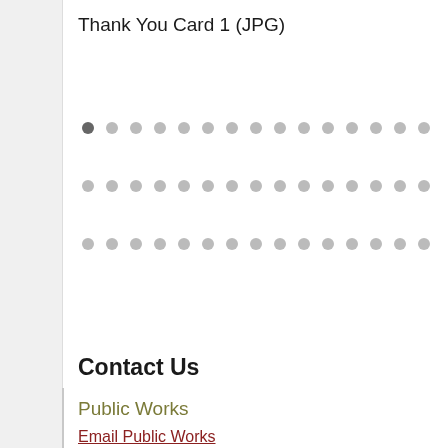Thank You Card 1 (JPG)
[Figure (other): Three rows of gray dots arranged in a grid pattern, representing a decorative or placeholder image element]
Contact Us
Public Works
Email Public Works
Physical Address
215 D Street
Suite B
Lewiston, ID 83501
Mailing Address